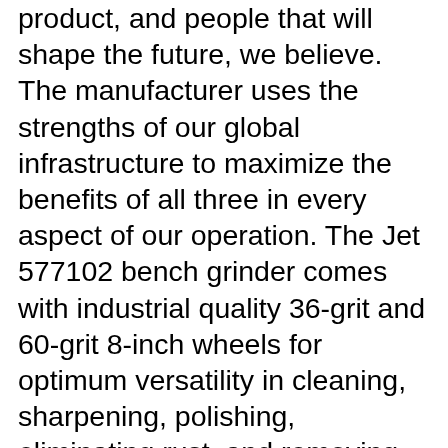product, and people that will shape the future, we believe. The manufacturer uses the strengths of our global infrastructure to maximize the benefits of all three in every aspect of our operation. The Jet 577102 bench grinder comes with industrial quality 36-grit and 60-grit 8-inch wheels for optimum versatility in cleaning, sharpening, polishing, eliminating rust, and removing burs from metal. The 115-volt, 1-horsepower motor spins at 3,450 rpm and provides enough power for hard grinding. The grinder is mounted on a rubber foot to minimize unintentional movement and may be fastened down for